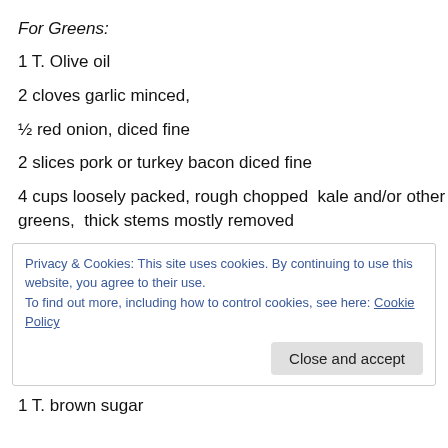For Greens:
1 T. Olive oil
2 cloves garlic minced,
½ red onion, diced fine
2 slices pork or turkey bacon diced fine
4 cups loosely packed, rough chopped  kale and/or other greens,  thick stems mostly removed
Privacy & Cookies: This site uses cookies. By continuing to use this website, you agree to their use.
To find out more, including how to control cookies, see here: Cookie Policy
[Close and accept]
1 T. brown sugar